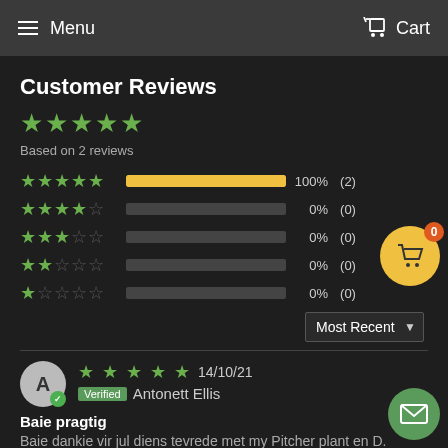Menu   Cart
Customer Reviews
Based on 2 reviews
| Stars | Bar | Percent | Count |
| --- | --- | --- | --- |
| 5 stars | 100% | 100% | (2) |
| 4 stars | 0% | 0% | (0) |
| 3 stars | 0% | 0% | (0) |
| 2 stars | 0% | 0% | (0) |
| 1 star | 0% | 0% | (0) |
Most Recent
14/10/21
Verified  Antonett Ellis
Baie pragtig
Baie dankie vir jul diens tevrede met my Pitcher plant en D.